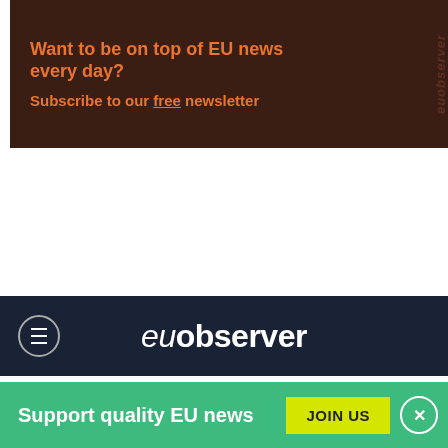[Figure (other): EUobserver advertisement banner: dark brown background with orange bold text 'Want to be on top of EU news every day?' and 'Subscribe to our free newsletter'. Vertical 'euobserver' text on right side.]
euobserver
NEWS / GREEN ECONOMY
Bailout paper gives Cyprus four years to balance budget
[Figure (other): Decorative image strip with zebra/animal print pattern in gold, black, and brown.]
Support quality EU news  JOIN US